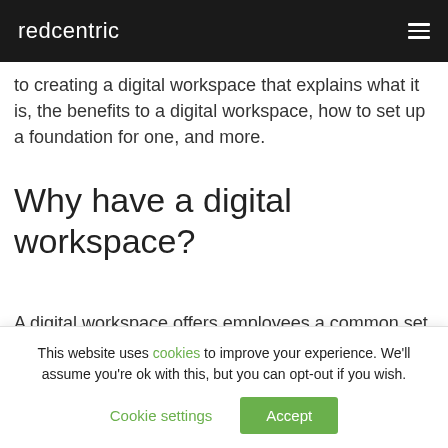redcentric
to creating a digital workspace that explains what it is, the benefits to a digital workspace, how to set up a foundation for one, and more.
Why have a digital workspace?
A digital workspace offers employees a common set of tools that enable them to work together in a frictionless way. It
This website uses cookies to improve your experience. We'll assume you're ok with this, but you can opt-out if you wish.
Cookie settings  Accept